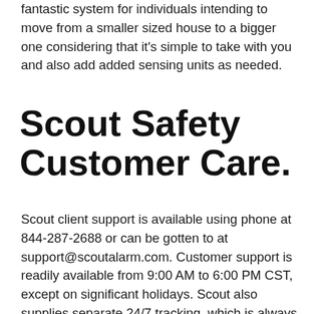fantastic system for individuals intending to move from a smaller sized house to a bigger one considering that it's simple to take with you and also add added sensing units as needed.
Scout Safety Customer Care.
Scout client support is available using phone at 844-287-2688 or can be gotten to at support@scoutalarm.com. Customer support is readily available from 9:00 AM to 6:00 PM CST, except on significant holidays. Scout also supplies separate 24/7 tracking, which is always reliable on a daily basis of the year whatsoever times of the day.